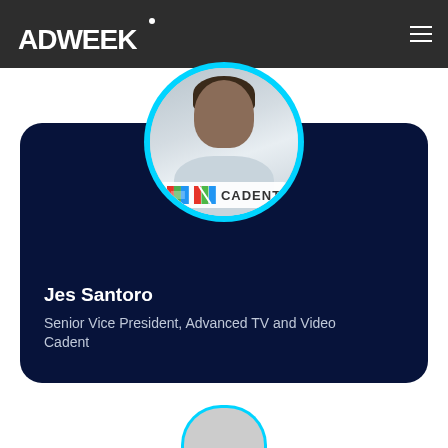ADWEEK
[Figure (photo): Profile photo of Jes Santoro in a circular frame with cyan border, overlaid on a dark navy card. Cadent logo visible at bottom of photo circle.]
Jes Santoro
Senior Vice President, Advanced TV and Video
Cadent
[Figure (photo): Partially visible circular profile photo at bottom of page with cyan border, belonging to next person listing.]